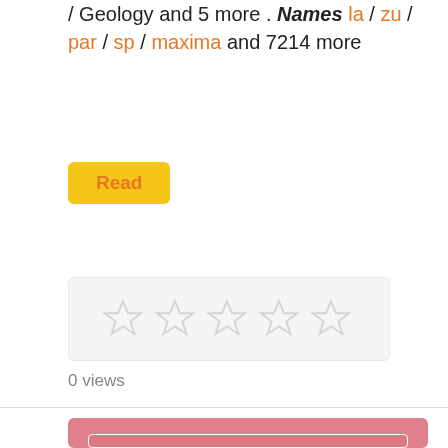/ Geology and 5 more . Names la / zu / par / sp / maxima and 7214 more
Read
[Figure (other): Star rating widget with faint star icons on light grey background]
0 views
[Figure (other): Pink card with inner bordered rectangle and white bold text reading 'Postilla']